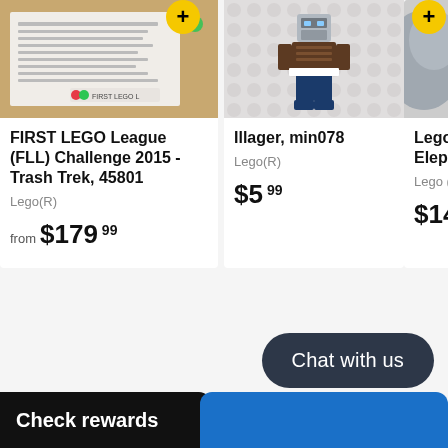[Figure (photo): Product photo of FIRST LEGO League Challenge 2015 Trash Trek box back, brown cardboard with printed instructions]
FIRST LEGO League (FLL) Challenge 2015 - Trash Trek, 45801
Lego(R)
from $179.99
[Figure (photo): LEGO Illager minifigure min078 standing on white LEGO base plate]
Illager, min078
Lego(R)
$5.99
[Figure (photo): Partially visible LEGO Elephant product image cropped on right edge]
Lego Eleph
Lego (R
$14.
Chat with us
Check rewards